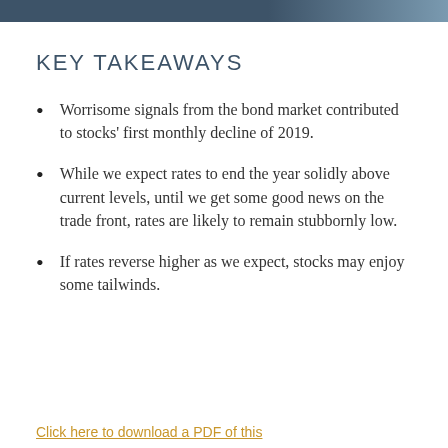KEY TAKEAWAYS
Worrisome signals from the bond market contributed to stocks' first monthly decline of 2019.
While we expect rates to end the year solidly above current levels, until we get some good news on the trade front, rates are likely to remain stubbornly low.
If rates reverse higher as we expect, stocks may enjoy some tailwinds.
Click here to download a PDF of this